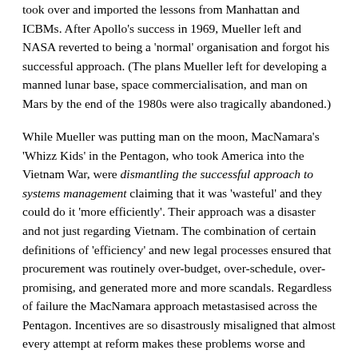took over and imported the lessons from Manhattan and ICBMs. After Apollo's success in 1969, Mueller left and NASA reverted to being a 'normal' organisation and forgot his successful approach. (The plans Mueller left for developing a manned lunar base, space commercialisation, and man on Mars by the end of the 1980s were also tragically abandoned.)
While Mueller was putting man on the moon, MacNamara's 'Whizz Kids' in the Pentagon, who took America into the Vietnam War, were dismantling the successful approach to systems management claiming that it was 'wasteful' and they could do it 'more efficiently'. Their approach was a disaster and not just regarding Vietnam. The combination of certain definitions of 'efficiency' and new legal processes ensured that procurement was routinely over-budget, over-schedule, over-promising, and generated more and more scandals. Regardless of failure the MacNamara approach metastasised across the Pentagon. Incentives are so disastrously misaligned that almost every attempt at reform makes these problems worse and lawyers